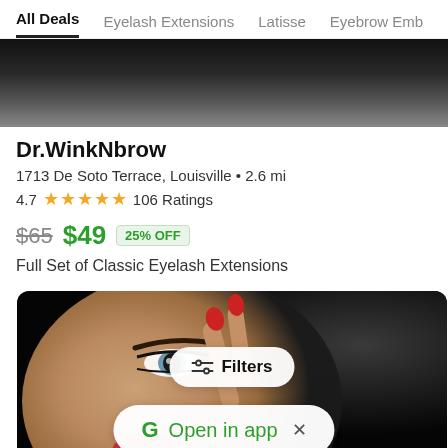All Deals  Eyelash Extensions  Latisse  Eyebrow Emb…
[Figure (photo): Dark cropped photo of hair/head area used as listing hero image]
Dr.WinkNbrow
1713 De Soto Terrace, Louisville • 2.6 mi
4.7 ★★★★½ 106 Ratings
$65 $49 25% OFF
Full Set of Classic Eyelash Extensions
[Figure (photo): Close-up photo of a woman's face with red nail polish touching near her eye, used as a second listing card image. Overlaid with a Filters button and an Open in app button.]